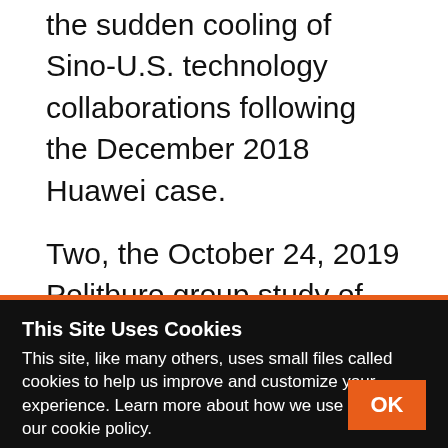the sudden cooling of Sino-U.S. technology collaborations following the December 2018 Huawei case.
Two, the October 24, 2019 Politburo group study of blockchain shows once again that development of technology is heavily guided by the government. And in this particular case, blockchain might arrive at a break-even price point faster because of China's coming heavy investment in it.
This Site Uses Cookies
This site, like many others, uses small files called cookies to help us improve and customize your experience. Learn more about how we use cookies in our cookie policy.
OK